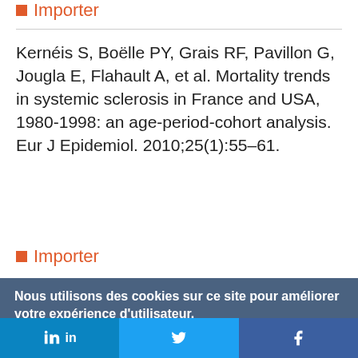■ Importer
Kernéis S, Boëlle PY, Grais RF, Pavillon G, Jougla E, Flahault A, et al. Mortality trends in systemic sclerosis in France and USA, 1980-1998: an age-period-cohort analysis. Eur J Epidemiol. 2010;25(1):55–61.
■ Importer
Nous utilisons des cookies sur ce site pour améliorer votre expérience d'utilisateur.
En cliquant sur un lien de cette page, vous nous donnez votre consentement de définir des cookies.
Oui, je suis d'accord | Plus d'infos
in  Twitter  f